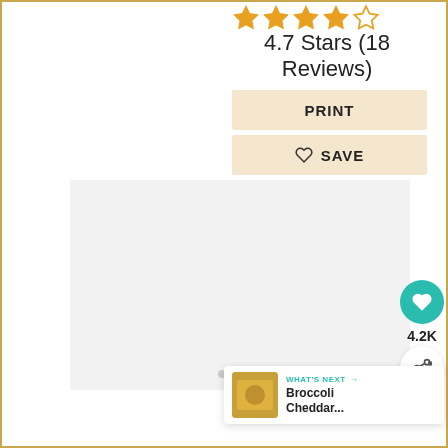[Figure (other): Five star rating icons (4 filled yellow/orange stars and 1 empty star outline)]
4.7 Stars (18 Reviews)
PRINT
♡ SAVE
[Figure (photo): Large image placeholder (light gray box) with three navigation dots at the bottom center]
[Figure (other): Teal circular heart/save button showing 4.2K saves]
4.2K
[Figure (other): White circular share button with share icon]
WHAT'S NEXT → Broccoli Cheddar...